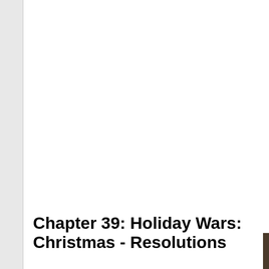Chapter 39: Holiday Wars: Christmas - Resolutions